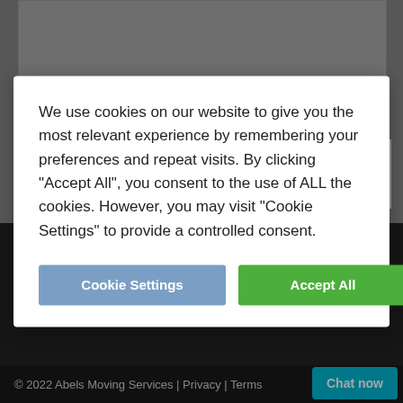[Figure (screenshot): Grey textarea/form input area at top of page]
* By clicking the submissions button, you agree to our privacy policy and terms and conditions to process your personal data. This is
We use cookies on our website to give you the most relevant experience by remembering your preferences and repeat visits. By clicking “Accept All”, you consent to the use of ALL the cookies. However, you may visit “Cookie Settings” to provide a controlled consent.
Cookie Settings
Accept All
THE ART OF MOVING
Telephone: 01842 816 600
International: +44 1842 816600
Email: enquiries@abels.co.uk
© 2022 Abels Moving Services | Privacy | Terms
Chat now